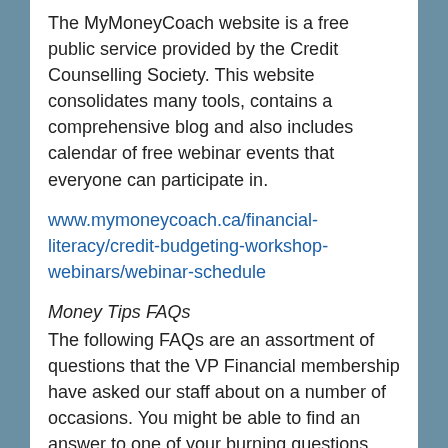The MyMoneyCoach website is a free public service provided by the Credit Counselling Society. This website consolidates many tools, contains a comprehensive blog and also includes calendar of free webinar events that everyone can participate in.
www.mymoneycoach.ca/financial-literacy/credit-budgeting-workshop-webinars/webinar-schedule
Money Tips FAQs
The following FAQs are an assortment of questions that the VP Financial membership have asked our staff about on a number of occasions. You might be able to find an answer to one of your burning questions here.
1. What are the best tools to use when putting together a budget?